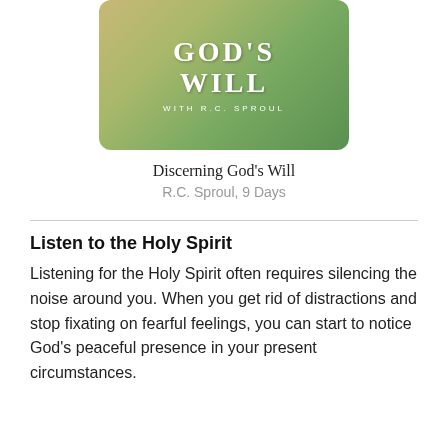[Figure (illustration): Book cover for 'Discerning God's Will with R.C. Sproul' — olive/golden green gradient background with large serif white text reading GOD'S WILL and subtitle WITH R.C. SPROUL]
Discerning God's Will
R.C. Sproul, 9 Days
Listen to the Holy Spirit
Listening for the Holy Spirit often requires silencing the noise around you. When you get rid of distractions and stop fixating on fearful feelings, you can start to notice God's peaceful presence in your present circumstances.